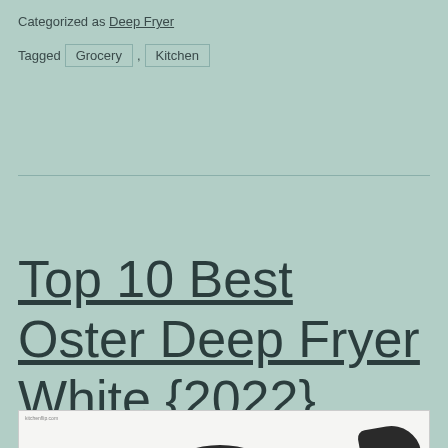Categorized as Deep Fryer
Tagged  Grocery  ,  Kitchen
Top 10 Best Oster Deep Fryer White {2022}
[Figure (photo): Product photo showing Oster deep fryer white appliance parts on a white background with small website watermark]